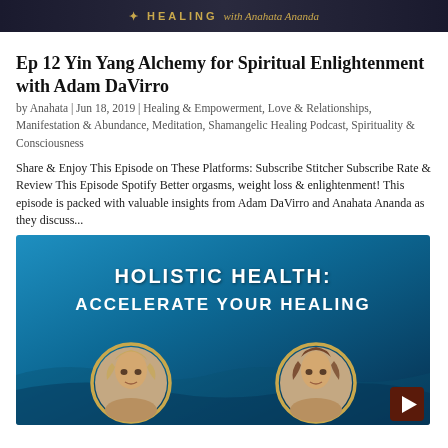HEALING with Anahata Ananda
Ep 12 Yin Yang Alchemy for Spiritual Enlightenment with Adam DaVirro
by Anahata | Jun 18, 2019 | Healing & Empowerment, Love & Relationships, Manifestation & Abundance, Meditation, Shamangelic Healing Podcast, Spirituality & Consciousness
Share & Enjoy This Episode on These Platforms: Subscribe Stitcher Subscribe Rate & Review This Episode Spotify Better orgasms, weight loss & enlightenment! This episode is packed with valuable insights from Adam DaVirro and Anahata Ananda as they discuss...
[Figure (illustration): Promotional image for 'Holistic Health: Accelerate Your Healing' podcast with teal/blue gradient background, two circular portrait photos of women, and a play button icon in the lower right corner.]